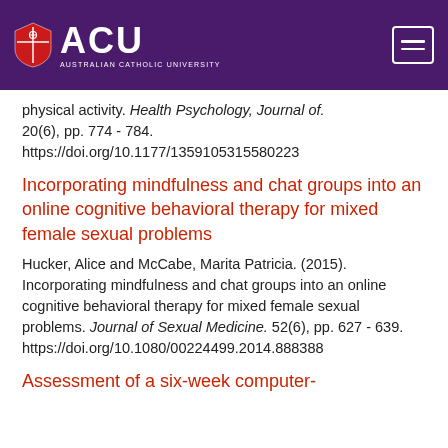[Figure (logo): ACU (Australian Catholic University) logo with shield on purple background header, plus hamburger menu icon]
physical activity. Health Psychology, Journal of. 20(6), pp. 774 - 784. https://doi.org/10.1177/1359105315580223
Incorporating mindfulness and chat groups into an online cognitive behavioral therapy for mixed female sexual problems
Hucker, Alice and McCabe, Marita Patricia. (2015). Incorporating mindfulness and chat groups into an online cognitive behavioral therapy for mixed female sexual problems. Journal of Sexual Medicine. 52(6), pp. 627 - 639. https://doi.org/10.1080/00224499.2014.888388
Assessment of a six-week computer-